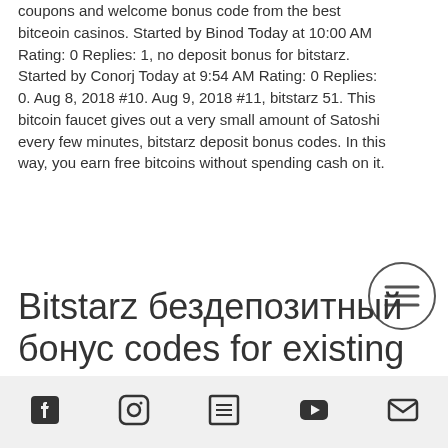coupons and welcome bonus code from the best bitceoin casinos. Started by Binod Today at 10:00 AM Rating: 0 Replies: 1, no deposit bonus for bitstarz. Started by Conorj Today at 9:54 AM Rating: 0 Replies: 0. Aug 8, 2018 #10. Aug 9, 2018 #11, bitstarz 51. This bitcoin faucet gives out a very small amount of Satoshi every few minutes, bitstarz deposit bonus codes. In this way, you earn free bitcoins without spending cash on it.
[Figure (other): Hamburger menu icon inside a circle]
Bitstarz бездепозитный бонус codes for existing users 2022, bitstarz tours gratuits bonus codes
With Bitcoin faucets, however, you have to
Social media icons: Facebook, Instagram, List, YouTube, Email